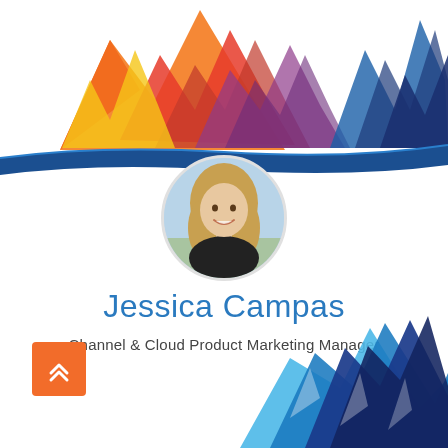[Figure (illustration): Top decorative graphic with colorful geometric mountain/lightning shapes in orange, red, yellow, purple, and blue tones, with a dark blue curved swoosh line]
[Figure (photo): Circular profile photo of Jessica Campas, a woman with long blonde wavy hair, smiling, wearing a dark top, with a blurred outdoor background]
Jessica Campas
Channel & Cloud Product Marketing Manager
[Figure (illustration): Bottom-right decorative graphic with blue geometric diamond/lightning bolt shapes in shades of light blue, medium blue, and dark blue/navy, partially cropped]
[Figure (illustration): Small orange square button with double up-arrow chevron icon in the bottom-left area]